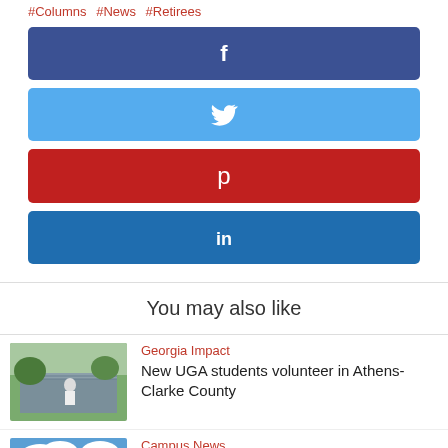#Columns #News #Retirees
[Figure (infographic): Facebook share button - dark blue rectangle with white Facebook 'f' icon]
[Figure (infographic): Twitter share button - light blue rectangle with white Twitter bird icon]
[Figure (infographic): Pinterest share button - red rectangle with white Pinterest 'p' icon]
[Figure (infographic): LinkedIn share button - medium blue rectangle with white 'in' icon]
You may also like
[Figure (photo): Photo of a student volunteering outdoors near a building with a metal roof and trees in the background]
Georgia Impact
New UGA students volunteer in Athens-Clarke County
[Figure (photo): Photo of a UGA campus building with blue sky and clouds]
Campus News
UGA ranked 10th among public